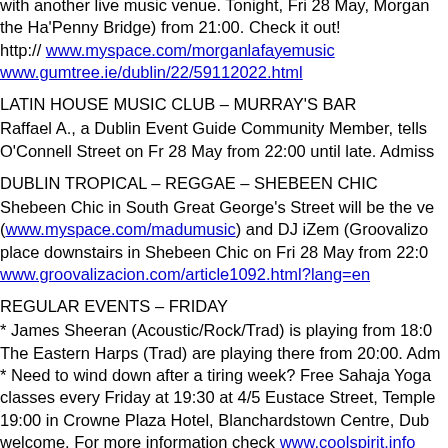with another live music venue. Tonight, Fri 28 May, Morgan the Ha'Penny Bridge) from 21:00. Check it out! http:// www.myspace.com/morganlafayemusic www.gumtree.ie/dublin/22/59112022.html
LATIN HOUSE MUSIC CLUB – MURRAY'S BAR
Raffael A., a Dublin Event Guide Community Member, tells O'Connell Street on Fr 28 May from 22:00 until late. Admiss
DUBLIN TROPICAL – REGGAE – SHEBEEN CHIC
Shebeen Chic in South Great George's Street will be the ve (www.myspace.com/madumusic) and DJ iZem (Groovalizo place downstairs in Shebeen Chic on Fri 28 May from 22:0 www.groovalizacion.com/article1092.html?lang=en
REGULAR EVENTS – FRIDAY
* James Sheeran (Acoustic/Rock/Trad) is playing from 18:0 The Eastern Harps (Trad) are playing there from 20:00. Adm * Need to wind down after a tiring week? Free Sahaja Yoga classes every Friday at 19:30 at 4/5 Eustace Street, Temple 19:00 in Crowne Plaza Hotel, Blanchardstown Centre, Dub welcome. For more information check www.coolspirit.info